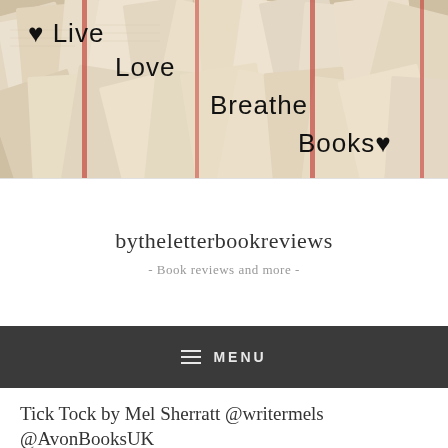[Figure (photo): Banner image of many open books arranged in a collage/pile, with overlay text reading '♥ Live Love Breathe Books♥' in a handwritten style font]
bytheletterbookreviews
- Book reviews and more -
≡ MENU
Tick Tock by Mel Sherratt @writermels @AvonBooksUK